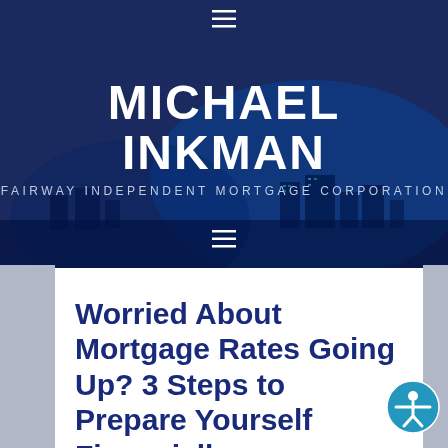☰
MICHAEL INKMAN
FAIRWAY INDEPENDENT MORTGAGE CORPORATION
[Figure (other): Hamburger menu icon (three horizontal lines) on dark blue background]
Worried About Mortgage Rates Going Up? 3 Steps to Prepare Yourself Financially
OCTOBER 6, 2015 BY MICHAEL INKMAN